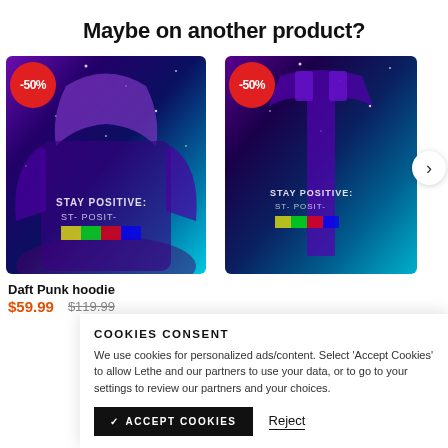Maybe on another product?
[Figure (photo): Galaxy-print hoodie with 'Stay Positive' graphic, -50% discount badge]
[Figure (photo): Galaxy-print tank top with 'Stay Positive' graphic, -50% discount badge]
Daft Punk hoodie
$59.99  $119.99
COOKIES CONSENT
We use cookies for personalized ads/content. Select 'Accept Cookies' to allow Lethe and our partners to use your data, or to go to your settings to review our partners and your choices.
ACCEPT COOKIES
Reject